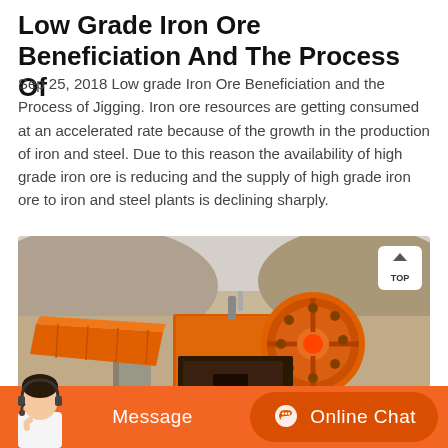Low Grade Iron Ore Beneficiation And The Process Of
Sep 25, 2018 Low grade Iron Ore Beneficiation and the Process of Jigging. Iron ore resources are getting consumed at an accelerated rate because of the growth in the production of iron and steel. Due to this reason the availability of high grade iron ore is reducing and the supply of high grade iron ore to iron and steel plants is declining sharply.
[Figure (photo): Photograph of an orange jaw crusher / iron ore beneficiation machine mounted on concrete supports outdoors, with rocky terrain in background.]
Message
Online Chat